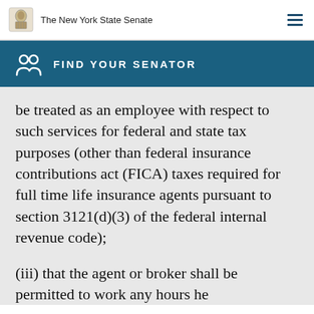The New York State Senate
FIND YOUR SENATOR
be treated as an employee with respect to such services for federal and state tax purposes (other than federal insurance contributions act (FICA) taxes required for full time life insurance agents pursuant to section 3121(d)(3) of the federal internal revenue code);
(iii) that the agent or broker shall be permitted to work any hours he